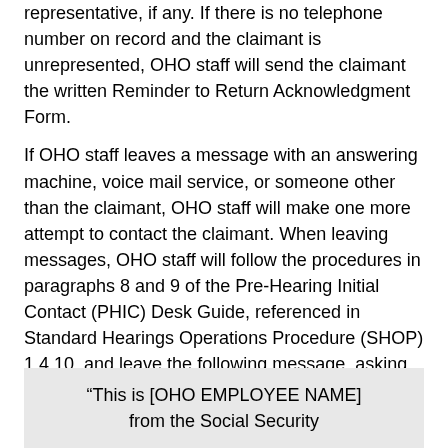representative, if any. If there is no telephone number on record and the claimant is unrepresented, OHO staff will send the claimant the written Reminder to Return Acknowledgment Form.
If OHO staff leaves a message with an answering machine, voice mail service, or someone other than the claimant, OHO staff will make one more attempt to contact the claimant. When leaving messages, OHO staff will follow the procedures in paragraphs 8 and 9 of the Pre-Hearing Initial Contact (PHIC) Desk Guide, referenced in Standard Hearings Operations Procedure (SHOP) 1.4.10, and leave the following message, asking the claimant to call back the staff member:
“This is [OHO EMPLOYEE NAME] from the Social Security